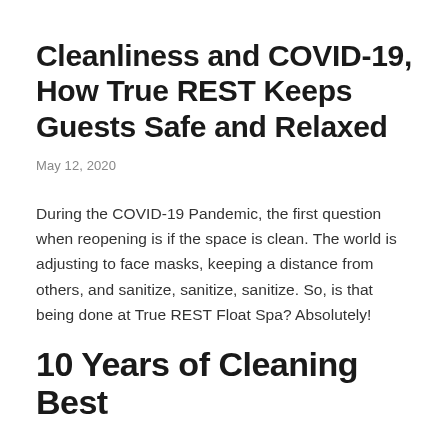Cleanliness and COVID-19, How True REST Keeps Guests Safe and Relaxed
May 12, 2020
During the COVID-19 Pandemic, the first question when reopening is if the space is clean. The world is adjusting to face masks, keeping a distance from others, and sanitize, sanitize, sanitize. So, is that being done at True REST Float Spa? Absolutely!
10 Years of Cleaning Best